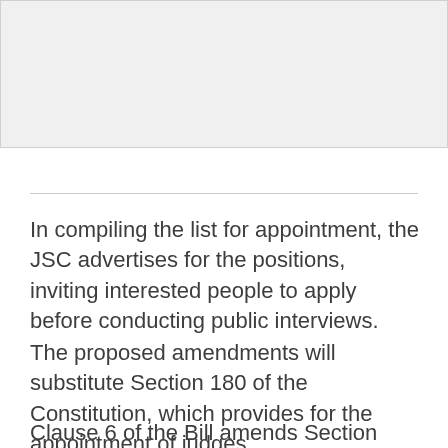[Figure (other): Gray placeholder image area at the top of the page]
In compiling the list for appointment, the JSC advertises for the positions, inviting interested people to apply before conducting public interviews.
The proposed amendments will substitute Section 180 of the Constitution, which provides for the appointment of judges.
Clause 6 of the Bill amends Section 180 of the present Constitution by providing that the President's choice of Chief Justice, Deputy Chief Justice and Judge President of the High